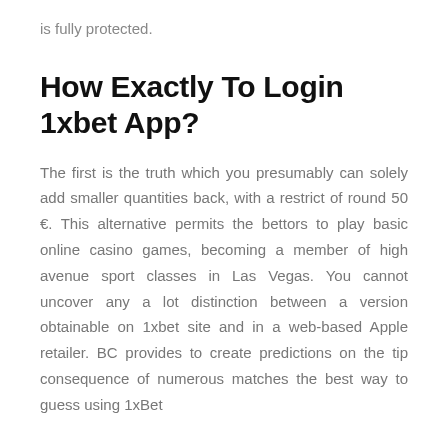is fully protected.
How Exactly To Login 1xbet App?
The first is the truth which you presumably can solely add smaller quantities back, with a restrict of round 50 €. This alternative permits the bettors to play basic online casino games, becoming a member of high avenue sport classes in Las Vegas. You cannot uncover any a lot distinction between a version obtainable on 1xbet site and in a web-based Apple retailer. BC provides to create predictions on the tip consequence of numerous matches the best way to guess using 1xBet